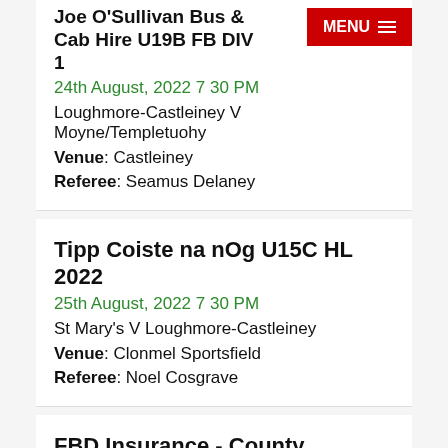Joe O'Sullivan Bus & Cab Hire U19B FB DIV 1
24th August, 2022 7 30 PM
Loughmore-Castleiney V Moyne/Templetuohy
Venue: Castleiney
Referee: Seamus Delaney
Tipp Coiste na nOg U15C HL 2022
25th August, 2022 7 30 PM
St Mary's V Loughmore-Castleiney
Venue: Clonmel Sportsfield
Referee: Noel Cosgrave
FBD Insurance - County Intermediate Football Championship - Group 4
27th August, 2022 3 30 PM